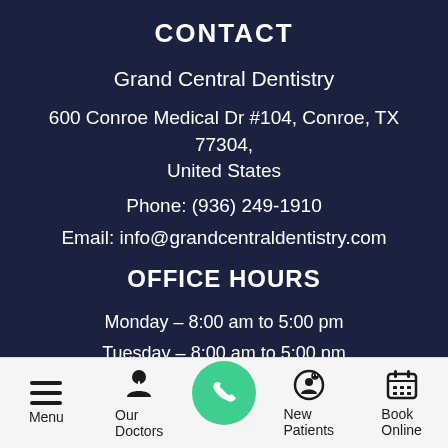CONTACT
Grand Central Dentistry
600 Conroe Medical Dr #104, Conroe, TX 77304, United States
Phone: (936) 249-1910
Email: info@grandcentraldentistry.com
OFFICE HOURS
Monday – 8:00 am to 5:00 pm
Tuesday – 8:00 am to 5:00 pm
Wednesday – 9:00 am to 6:00 pm
Thursday – 8:00 am to 5:00 pm
Menu | Our Doctors | Call | New Patients | Book Online